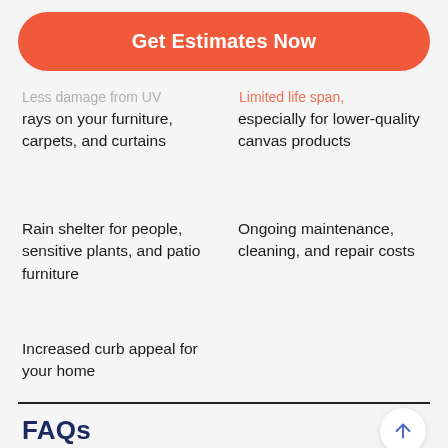[Figure (other): Orange rounded button with white bold text 'Get Estimates Now']
Less damage from UV rays on your furniture, carpets, and curtains
Limited life span, especially for lower-quality canvas products
Rain shelter for people, sensitive plants, and patio furniture
Ongoing maintenance, cleaning, and repair costs
Increased curb appeal for your home
FAQs